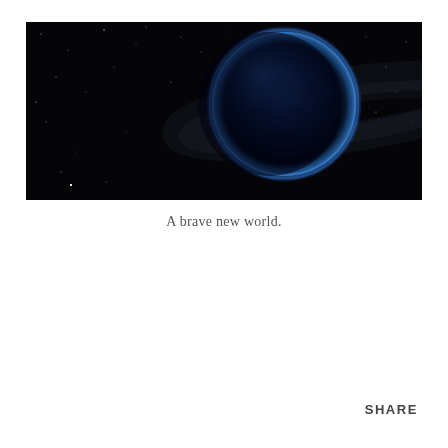[Figure (photo): A photograph of Earth seen from space against a black starry background. The planet is positioned in the right-center of the image with blue and dark tones, and a faint galactic band of stars stretches across the background.]
A brave new world.
SHARE